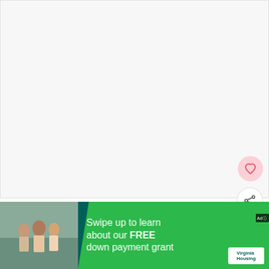[Figure (photo): Large food photo area — strawberry shortcake cupcakes (mostly white/blank placeholder area in this crop)]
Strawberry Shortcake Cupcakes
[Figure (photo): Advertisement banner: Virginia Housing 'Swipe up to learn about our FREE down payment grant'. Shows couple with agent in background photo, green triangle design with Virginia logo.]